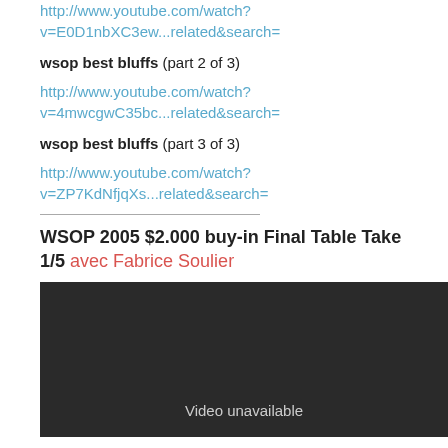http://www.youtube.com/watch?v=E0D1nbXC3ew...related&search=
wsop best bluffs (part 2 of 3)
http://www.youtube.com/watch?v=4mwcgwC35bc...related&search=
wsop best bluffs (part 3 of 3)
http://www.youtube.com/watch?v=ZP7KdNfjqXs...related&search=
WSOP 2005 $2.000 buy-in Final Table Take 1/5 avec Fabrice Soulier
[Figure (screenshot): Video unavailable placeholder - dark background with text 'Video unavailable']